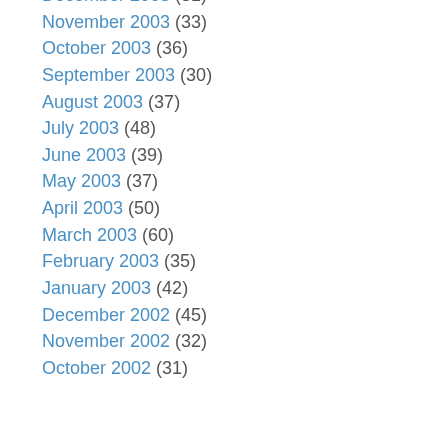December 2003 (31)
November 2003 (33)
October 2003 (36)
September 2003 (30)
August 2003 (37)
July 2003 (48)
June 2003 (39)
May 2003 (37)
April 2003 (50)
March 2003 (60)
February 2003 (35)
January 2003 (42)
December 2002 (45)
November 2002 (32)
October 2002 (31)